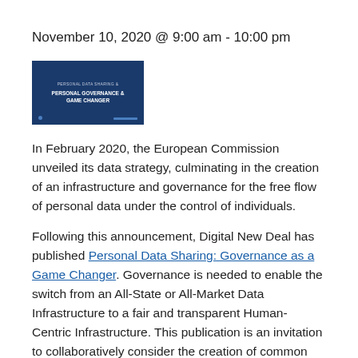November 10, 2020 @ 9:00 am - 10:00 pm
[Figure (illustration): Thumbnail image of a publication cover with dark blue background and text 'Personal Data Sharing: Governance as a Game Changer']
In February 2020, the European Commission unveiled its data strategy, culminating in the creation of an infrastructure and governance for the free flow of personal data under the control of individuals.
Following this announcement, Digital New Deal has published Personal Data Sharing: Governance as a Game Changer. Governance is needed to enable the switch from an All-State or All-Market Data Infrastructure to a fair and transparent Human-Centric Infrastructure. This publication is an invitation to collaboratively consider the creation of common standards for this new infrastructure for the free flow of personal data under the